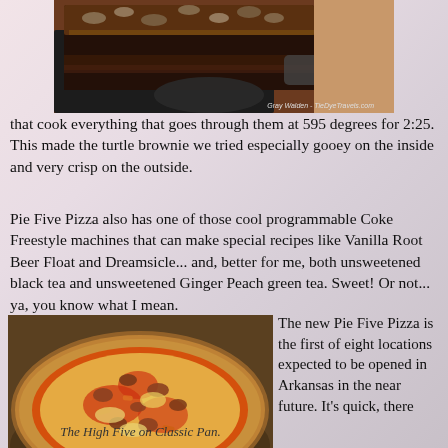[Figure (photo): Close-up photo of a turtle brownie on a dark pan, topped with nuts and caramel, with a photo credit reading 'Gray Walden - TieDyeTravels.com']
that cook everything that goes through them at 595 degrees for 2:25.  This made the turtle brownie we tried especially gooey on the inside and very crisp on the outside.
Pie Five Pizza also has one of those cool programmable Coke Freestyle machines that can make special recipes like Vanilla Root Beer Float and Dreamsicle... and, better for me, both unsweetened black tea and unsweetened Ginger Peach green tea. Sweet!  Or not... ya, you know what I mean.
[Figure (photo): Photo of The High Five on Classic Pan pizza, showing a topped pizza with meats, cheese, and vegetables on a classic pan crust, with a photo credit]
The High Five on Classic Pan.
The new Pie Five Pizza is the first of eight locations expected to be opened in Arkansas in the near future.  It's quick, there